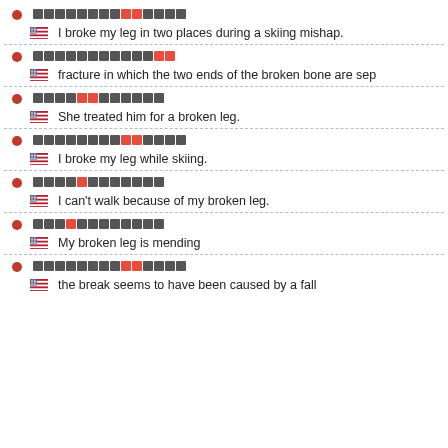[Japanese] • I broke my leg in two places during a skiing mishap.
[Japanese] • fracture in which the two ends of the broken bone are sep
[Japanese] • She treated him for a broken leg.
[Japanese] • I broke my leg while skiing.
[Japanese] • I can't walk because of my broken leg.
[Japanese] • My broken leg is mending
[Japanese] • the break seems to have been caused by a fall